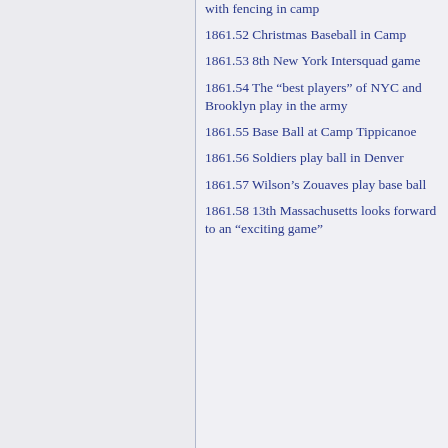with fencing in camp
1861.52 Christmas Baseball in Camp
1861.53 8th New York Intersquad game
1861.54 The “best players” of NYC and Brooklyn play in the army
1861.55 Base Ball at Camp Tippicanoe
1861.56 Soldiers play ball in Denver
1861.57 Wilson’s Zouaves play base ball
1861.58 13th Massachusetts looks forward to an “exciting game”